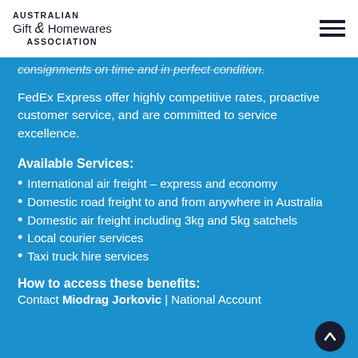Australian Gift & Homewares Association
consignments on time and in perfect condition.
FedEx Express offer highly competitive rates, proactive customer service, and are committed to service excellence.
Available Services:
International air freight – express and economy
Domestic road freight to and from anywhere in Australia
Domestic air freight including 3kg and 5kg satchels
Local courier services
Taxi truck hire services
How to access these benefits:
Contact Miodrag Jorkovic | National Account